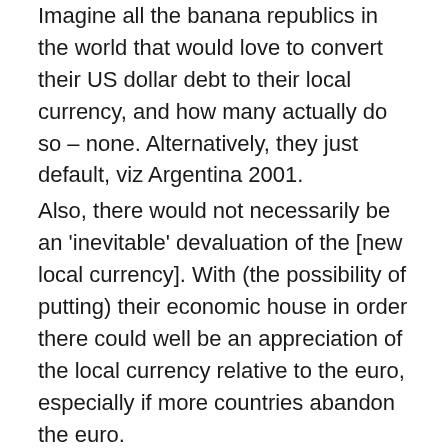Imagine all the banana republics in the world that would love to convert their US dollar debt to their local currency, and how many actually do so – none. Alternatively, they just default, viz Argentina 2001.
Also, there would not necessarily be an 'inevitable' devaluation of the [new local currency]. With (the possibility of putting) their economic house in order there could well be an appreciation of the local currency relative to the euro, especially if more countries abandon the euro.
Anyway, the problem is solved by hedging. If you (i.e. any issuer) have to pay Euro in the future to redeem your bonds at maturity, go long the Euro to match your exposure for zero risk, but with an expense for fees.